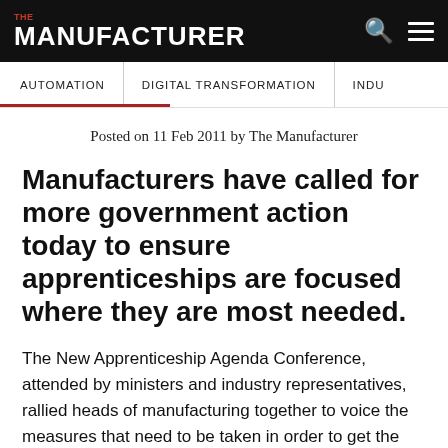THE MANUFACTURER
AUTOMATION | DIGITAL TRANSFORMATION | INDU
Posted on 11 Feb 2011 by The Manufacturer
Manufacturers have called for more government action today to ensure apprenticeships are focused where they are most needed.
The New Apprenticeship Agenda Conference, attended by ministers and industry representatives, rallied heads of manufacturing together to voice the measures that need to be taken in order to get the most out